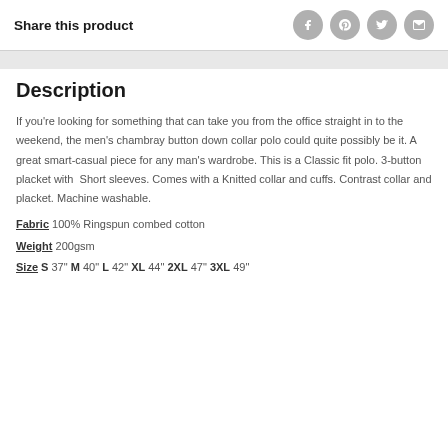Share this product
Description
If you're looking for something that can take you from the office straight in to the weekend, the men's chambray button down collar polo could quite possibly be it. A great smart-casual piece for any man's wardrobe. This is a Classic fit polo. 3-button placket with Short sleeves. Comes with a Knitted collar and cuffs. Contrast collar and placket. Machine washable.
Fabric 100% Ringspun combed cotton
Weight 200gsm
Size S 37" M 40" L 42" XL 44" 2XL 47" 3XL 49"